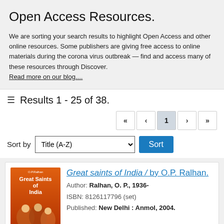Open Access Resources.
We are sorting your search results to highlight Open Access and other online resources. Some publishers are giving free access to online materials during the corona virus outbreak — find and access many of these resources through Discover. Read more on our blog....
Results 1 - 25 of 38.
Sort by Title (A-Z) Sort
Great saints of India / by O.P. Ralhan.
Author: Ralhan, O. P., 1936-
ISBN: 8126117796 (set)
Published: New Delhi : Anmol, 2004.